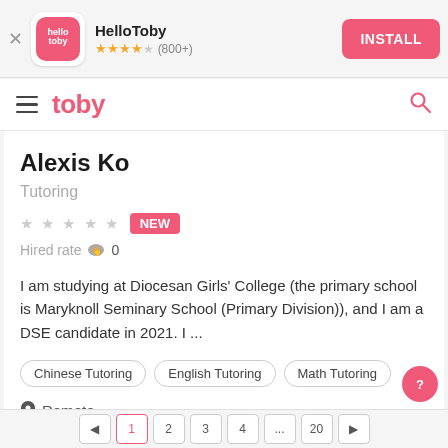[Figure (screenshot): HelloToby app install banner with logo, star rating (800+), and INSTALL button]
toby
Alexis Ko
Tutoring
★★★★★ NEW  Hired rate 🖐 0
I am studying at Diocesan Girls&#39; College (the primary school is Maryknoll Seminary School (Primary Division)), and I am a DSE candidate in 2021. I ...
Chinese Tutoring
English Tutoring
Math Tutoring
📍 Remote